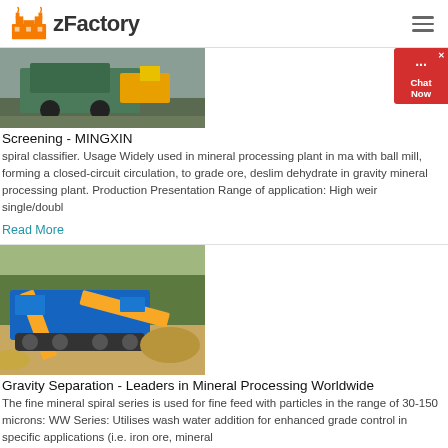zFactory
[Figure (photo): Construction/mining machinery photo, partial view at top of page]
Screening - MINGXIN
spiral classifier. Usage Widely used in mineral processing plant in ma with ball mill, forming a closed-circuit circulation, to grade ore, deslim dehydrate in gravity mineral processing plant. Production Presentation Range of application: High weir single/doubl
Read More
[Figure (photo): Blue and yellow mobile mineral processing/screening machine on dirt terrain with trees in background]
Gravity Separation - Leaders in Mineral Processing Worldwide
The fine mineral spiral series is used for fine feed with particles in the range of 30-150 microns: WW Series: Utilises wash water addition for enhanced grade control in specific applications (i.e. iron ore, mineral